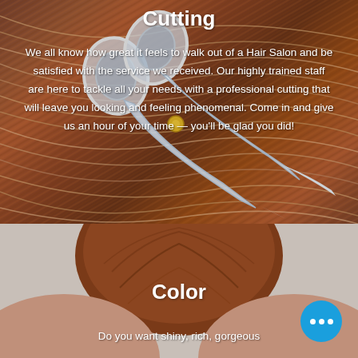[Figure (photo): Photo of hair scissors/shears resting on brown flowing hair strands, with white text overlay about cutting services]
Cutting
We all know how great it feels to walk out of a Hair Salon and be satisfied with the service we received. Our highly trained staff are here to tackle all your needs with a professional cutting that will leave you looking and feeling phenomenal.  Come in and give us an hour of your time — you'll be glad you did!
[Figure (photo): Photo of a person's auburn/brown hair styled in an updo/bun against a gray background, with white text overlay about color services. A blue chat button with three dots is visible in the lower right.]
Color
Do you want shiny, rich, gorgeous